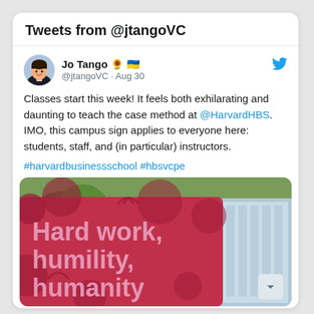Tweets from @jtangoVC
Jo Tango 🌻 🇺🇦
@jtangoVC · Aug 30
Classes start this week! It feels both exhilarating and daunting to teach the case method at @HarvardHBS. IMO, this campus sign applies to everyone here: students, staff, and (in particular) instructors.
#harvardbusinessschool #hbsvcpe
[Figure (photo): Photo of a campus sign on a red/purple banner reading 'Hard work, humility, humanity' with trees and a modern building in the background.]